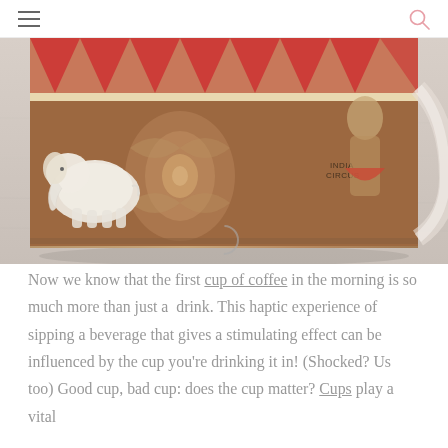navigation header with hamburger menu and search icon
[Figure (photo): Close-up photo of a decorative ceramic mug featuring Indian circus themed artwork with an elephant, damask patterns, red tent triangles, and 'India Circus' branding, placed on a light wooden surface]
Now we know that the first cup of coffee in the morning is so much more than just a drink. This haptic experience of sipping a beverage that gives a stimulating effect can be influenced by the cup you're drinking it in! (Shocked? Us too) Good cup, bad cup: does the cup matter? Cups play a vital